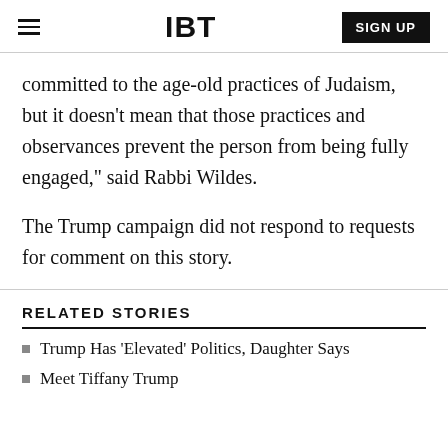IBT | SIGN UP
committed to the age-old practices of Judaism, but it doesn’t mean that those practices and observances prevent the person from being fully engaged,” said Rabbi Wildes.
The Trump campaign did not respond to requests for comment on this story.
RELATED STORIES
Trump Has ‘Elevated’ Politics, Daughter Says
Meet Tiffany Trump